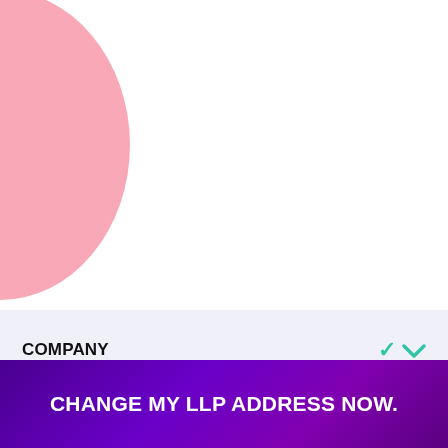[Figure (illustration): Pink semicircle decorative graphic in top-left corner]
COMPANY
BUSINESS REGISTRATION
REGISTRATION
Questions? Let's Chat
CHANGE MY LLP ADDRESS NOW.